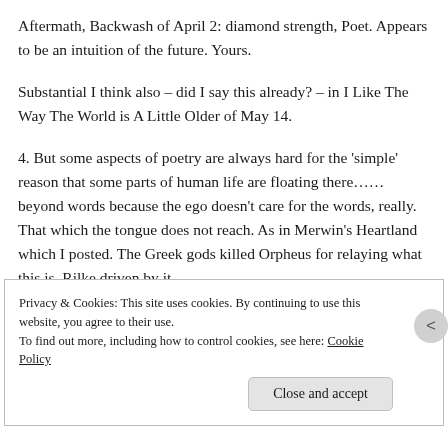Aftermath, Backwash of April 2: diamond strength, Poet. Appears to be an intuition of the future. Yours.
Substantial I think also – did I say this already? – in I Like The Way The World is A Little Older of May 14.
4. But some aspects of poetry are always hard for the 'simple' reason that some parts of human life are floating there…… beyond words because the ego doesn't care for the words, really.
That which the tongue does not reach. As in Merwin's Heartland which I posted. The Greek gods killed Orpheus for relaying what this is. Rilke driven by it.
Privacy & Cookies: This site uses cookies. By continuing to use this website, you agree to their use.
To find out more, including how to control cookies, see here: Cookie Policy